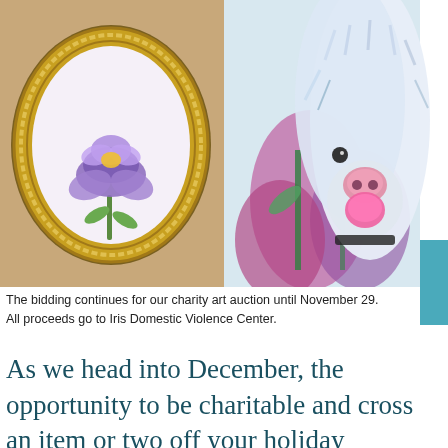[Figure (photo): Two artworks side by side: left shows a watercolor iris flower in a gold oval ornate frame on a tan/brown background; right shows a colorful expressive painting of a fluffy white dog with pink nose and tongue, surrounded by colorful flowers]
The bidding continues for our charity art auction until November 29. All proceeds go to Iris Domestic Violence Center.
As we head into December, the opportunity to be charitable and cross an item or two off your holiday shopping list at the same time should